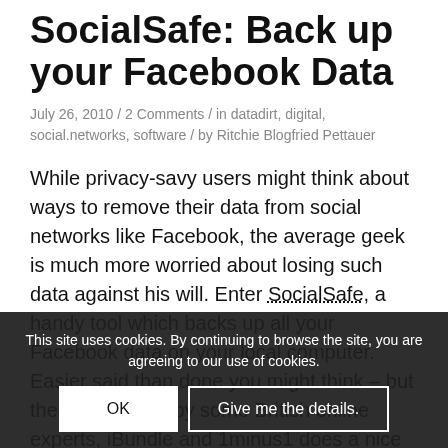SocialSafe: Back up your Facebook Data
July 26, 2010 / 2 Comments / in datadirt, digital, social.networks, software / by Ritchie Blogfried Pettauer
While privacy-savy users might think about ways to remove their data from social networks like Facebook, the average geek is much more worried about losing such data against his will. Enter SocialSafe, a handy tool which backs up all your Facebook data on your local computer. Easier said than done you might think – but the is-it-venture by some British online experts, iBundle and 1minus1 does a nice job for a very low price.
But why would you want to backup your
This site uses cookies. By continuing to browse the site, you are agreeing to our use of cookies.